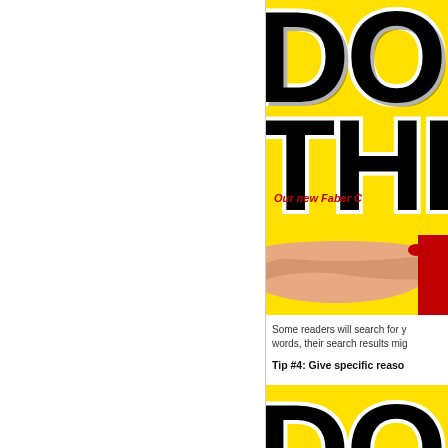[Figure (photo): Book cover with yellow background showing 'DO THIS' text in large black letters with white stroke, an outstretched hand, text reading 'Our new Faber C...' in red italic, and a red bar element]
Some readers will search for y... words, their search results mig...
Tip #4: Give specific reaso...
[Figure (photo): Partial bottom book cover with yellow background showing large black 'DO' letters with white stroke]